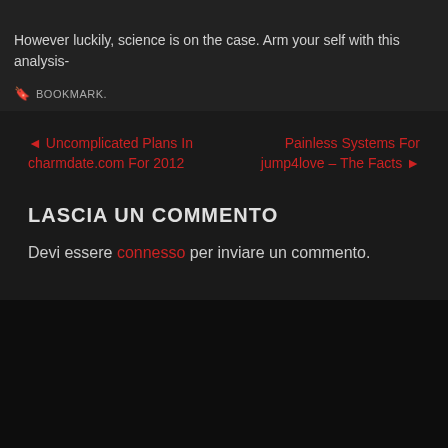However luckily, science is on the case. Arm your self with this analysis-
BOOKMARK.
← Uncomplicated Plans In charmdate.com For 2012
Painless Systems For jump4love – The Facts →
LASCIA UN COMMENTO
Devi essere connesso per inviare un commento.